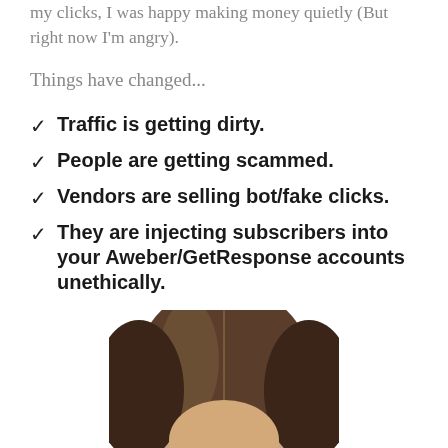my clicks, I was happy making money quietly (But right now I'm angry).
Things have changed...
Traffic is getting dirty.
People are getting scammed.
Vendors are selling bot/fake clicks.
They are injecting subscribers into your Aweber/GetResponse accounts unethically.
[Figure (photo): Top of a woman's head with dark brown hair, viewed from above/front, white background]